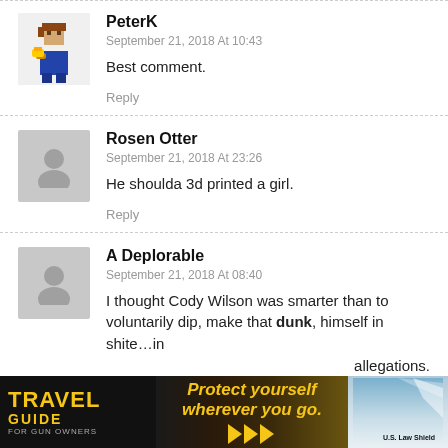PeterK
September 21, 2018 At 10:43
Best comment.
Reply
Rosen Otter
September 21, 2018 At 23:26
He shoulda 3d printed a girl.
Reply
A Deplorable
September 21, 2018 At 08:40
I thought Cody Wilson was smarter than to voluntarily dip, make that dunk, himself in shite…in allegations.
[Figure (infographic): Travel Guide for Gun Owners ad banner with text 'Protect yourself wherever you go.' and US LawShield branding]